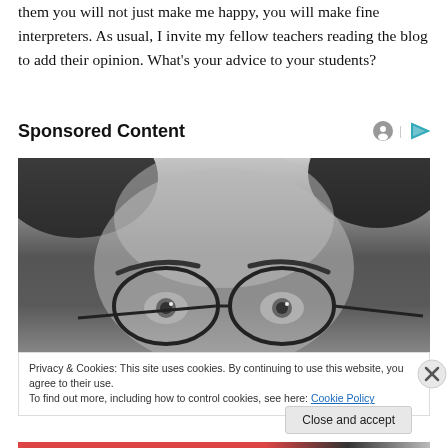them you will not just make me happy, you will make fine interpreters. As usual, I invite my fellow teachers reading the blog to add their opinion. What's your advice to your students?
Sponsored Content
[Figure (photo): Black and white close-up photo of a person wearing round glasses, showing mainly the eyes, brows, and top of the head with dark hair.]
Privacy & Cookies: This site uses cookies. By continuing to use this website, you agree to their use.
To find out more, including how to control cookies, see here: Cookie Policy
Close and accept